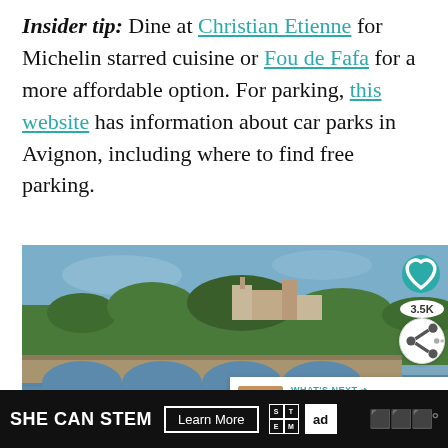Insider tip: Dine at Christian Etienne for Michelin starred cuisine or Fou de Fafa for a more affordable option. For parking, this website has information about car parks in Avignon, including where to find free parking.
[Figure (photo): Photograph of Avignon, France showing the historic Pont d'Avignon bridge over the Rhone river with the Palais des Papes and trees in the background under a blue sky.]